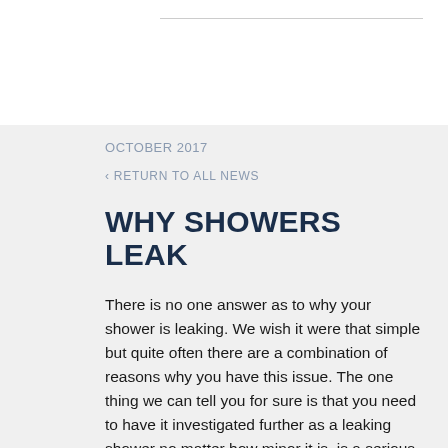OCTOBER 2017
‹ RETURN TO ALL NEWS
WHY SHOWERS LEAK
There is no one answer as to why your shower is leaking. We wish it were that simple but quite often there are a combination of reasons why you have this issue. The one thing we can tell you for sure is that you need to have it investigated further as a leaking shower no matter how minor it is, is a serious problem. It can lead to major structural issues if not attended to early.